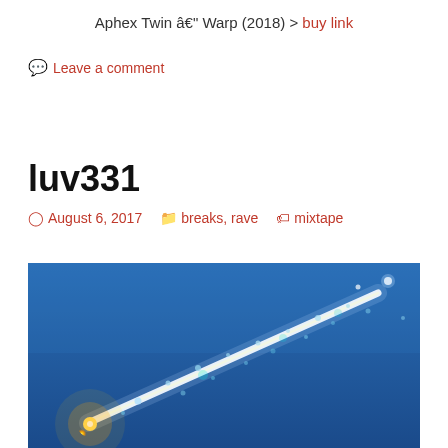Aphex Twin â€" Warp (2018) > buy link
Leave a comment
luv331
August 6, 2017   breaks, rave   mixtape
[Figure (photo): Photo of a meteor or fireball streaking across a blue sky, with a bright light trail and glowing debris scattered around it.]